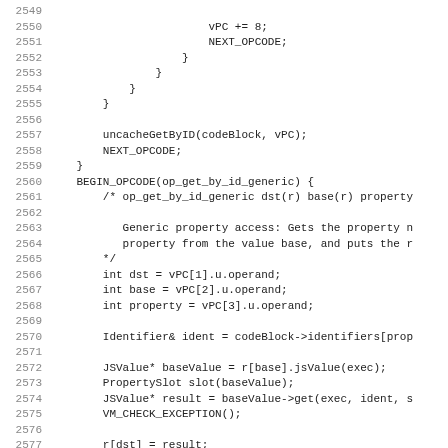Source code listing lines 2549-2581
2549
2550    vPC += 8;
2551    NEXT_OPCODE;
2552    }
2553   }
2554  }
2555 }
2556
2557  uncacheGetByID(codeBlock, vPC);
2558  NEXT_OPCODE;
2559 }
2560 BEGIN_OPCODE(op_get_by_id_generic) {
2561   /* op_get_by_id_generic dst(r) base(r) property
2562
2563     Generic property access: Gets the property n
2564     property from the value base, and puts the r
2565  */
2566  int dst = vPC[1].u.operand;
2567  int base = vPC[2].u.operand;
2568  int property = vPC[3].u.operand;
2569
2570  Identifier& ident = codeBlock->identifiers[prop
2571
2572  JSValue* baseValue = r[base].jsValue(exec);
2573  PropertySlot slot(baseValue);
2574  JSValue* result = baseValue->get(exec, ident, s
2575  VM_CHECK_EXCEPTION();
2576
2577  r[dst] = result;
2578  vPC += 8;
2579  NEXT_OPCODE;
2580 }
2581 BEGIN_OPCODE(